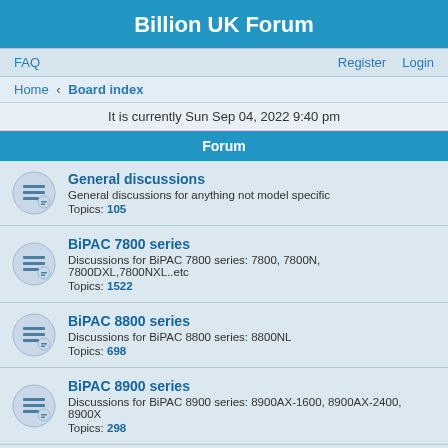Billion UK Forum
FAQ   Register   Login
Home › Board index
It is currently Sun Sep 04, 2022 9:40 pm
Forum
General discussions
General discussions for anything not model specific
Topics: 105
BiPAC 7800 series
Discussions for BiPAC 7800 series: 7800, 7800N, 7800DXL,7800NXL..etc
Topics: 1522
BiPAC 8800 series
Discussions for BiPAC 8800 series: 8800NL
Topics: 698
BiPAC 8900 series
Discussions for BiPAC 8900 series: 8900AX-1600, 8900AX-2400, 8900X
Topics: 298
BiPAC 7402 series
Discussion for BiPAC 7402 series: 7402, 7402G, 7402X, 7402GX, 7402NX..etc
Topics: 54